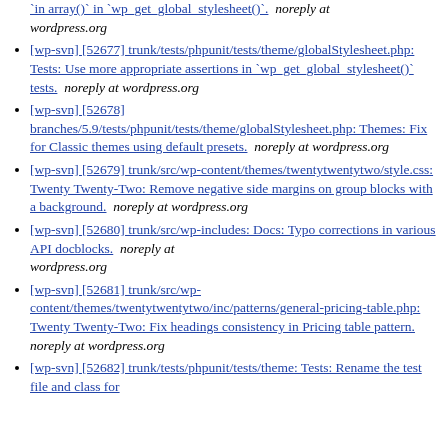'in array()' in 'wp_get_global_stylesheet()'. noreply at wordpress.org
[wp-svn] [52677] trunk/tests/phpunit/tests/theme/globalStylesheet.php: Tests: Use more appropriate assertions in `wp_get_global_stylesheet()` tests. noreply at wordpress.org
[wp-svn] [52678] branches/5.9/tests/phpunit/tests/theme/globalStylesheet.php: Themes: Fix for Classic themes using default presets. noreply at wordpress.org
[wp-svn] [52679] trunk/src/wp-content/themes/twentytwentytwo/style.css: Twenty Twenty-Two: Remove negative side margins on group blocks with a background. noreply at wordpress.org
[wp-svn] [52680] trunk/src/wp-includes: Docs: Typo corrections in various API docblocks. noreply at wordpress.org
[wp-svn] [52681] trunk/src/wp-content/themes/twentytwentytwo/inc/patterns/general-pricing-table.php: Twenty Twenty-Two: Fix headings consistency in Pricing table pattern. noreply at wordpress.org
[wp-svn] [52682] trunk/tests/phpunit/tests/theme: Tests: Rename the test file and class for